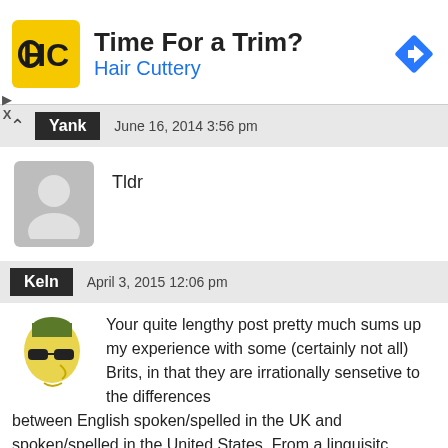[Figure (advertisement): Hair Cuttery ad banner with HC logo, text 'Time For a Trim?' and 'Hair Cuttery', and a blue navigation diamond icon]
Yank   June 16, 2014 3:56 pm
Tldr
Keln   April 3, 2015 12:06 pm
Your quite lengthy post pretty much sums up my experience with some (certainly not all) Brits, in that they are irrationally sensetive to the differences between English spoken/spelled in the UK and spoken/spelled in the United States. From a linguisitc